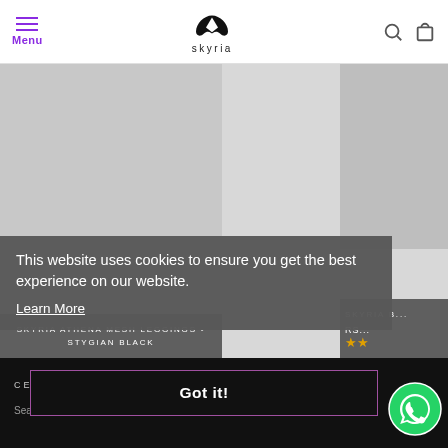Menu | skyria logo | search | cart
SKYRIA ATHENA MESH LEGGINGS - STYGIAN BLACK
SKYRIA B...
RS...
This website uses cookies to ensure you get the best experience on our website.
Learn More
Got it!
CENTRAL
Search